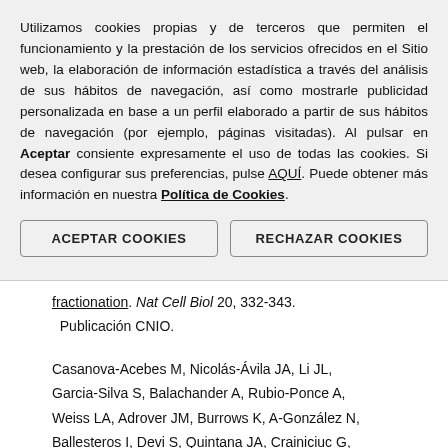Utilizamos cookies propias y de terceros que permiten el funcionamiento y la prestación de los servicios ofrecidos en el Sitio web, la elaboración de información estadística a través del análisis de sus hábitos de navegación, así como mostrarle publicidad personalizada en base a un perfil elaborado a partir de sus hábitos de navegación (por ejemplo, páginas visitadas). Al pulsar en Aceptar consiente expresamente el uso de todas las cookies. Si desea configurar sus preferencias, pulse AQUÍ. Puede obtener más información en nuestra Política de Cookies.
ACEPTAR COOKIES
RECHAZAR COOKIES
fractionation. Nat Cell Biol 20, 332-343. Publicación CNIO.
Casanova-Acebes M, Nicolás-Ávila JA, Li JL, Garcia-Silva S, Balachander A, Rubio-Ponce A, Weiss LA, Adrover JM, Burrows K, A-González N, Ballesteros I, Devi S, Quintana JA, Crainiciuc G,